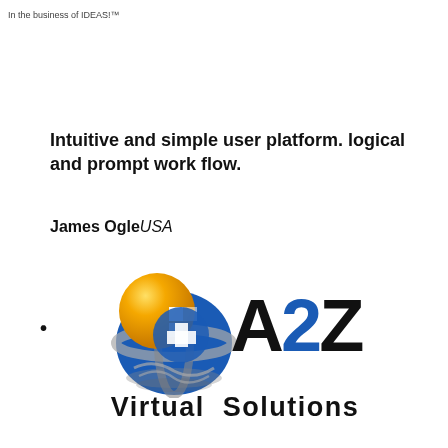In the business of IDEAS!™
Intuitive and simple user platform. logical and prompt work flow.
James OgleUSA
[Figure (logo): A2Z Virtual Solutions logo featuring a globe with yellow and blue elements, large bold 'A2Z' text with blue '2', and 'Virtual Solutions' text below]